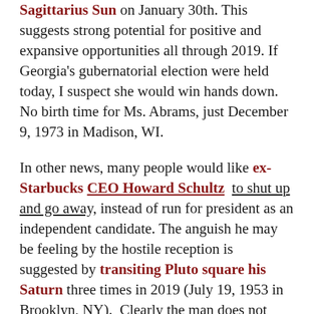Sagittarius Sun on January 30th. This suggests strong potential for positive and expansive opportunities all through 2019. If Georgia's gubernatorial election were held today, I suspect she would win hands down. No birth time for Ms. Abrams, just December 9, 1973 in Madison, WI.
In other news, many people would like ex-Starbucks CEO Howard Schultz to shut up and go away, instead of run for president as an independent candidate. The anguish he may be feeling by the hostile reception is suggested by transiting Pluto square his Saturn three times in 2019 (July 19, 1953 in Brooklyn, NY). Clearly the man does not have an astrologer on his team. Hostile reception or not, Mr. Schultz is still likely